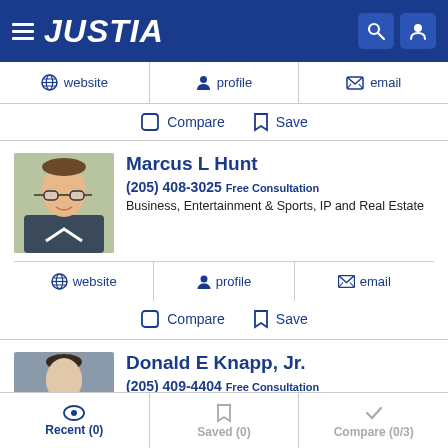JUSTIA
website | profile | email
Compare  Save
Marcus L Hunt
(205) 408-3025 Free Consultation
Business, Entertainment & Sports, IP and Real Estate
website | profile | email
Compare  Save
Donald E Knapp, Jr.
(205) 409-4404 Free Consultation
Recent (0)  Saved (0)  Compare (0/3)